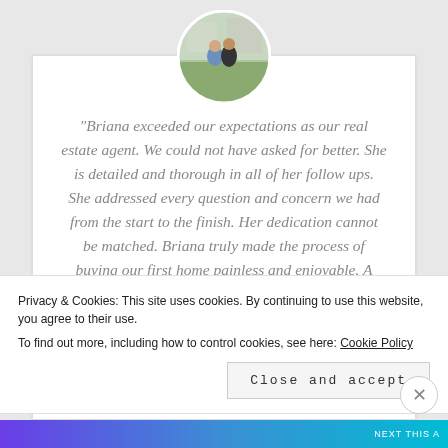[Figure (photo): Circular profile photo of two people standing outdoors in front of a building]
“Briana exceeded our expectations as our real estate agent. We could not have asked for better. She is detailed and thorough in all of her follow ups. She addressed every question and concern we had from the start to the finish. Her dedication cannot be matched. Briana truly made the process of buying our first home painless and enjoyable. A friendly, hard working, and understanding personality. Thank you Briana!”
Privacy & Cookies: This site uses cookies. By continuing to use this website, you agree to their use. To find out more, including how to control cookies, see here: Cookie Policy
Close and accept